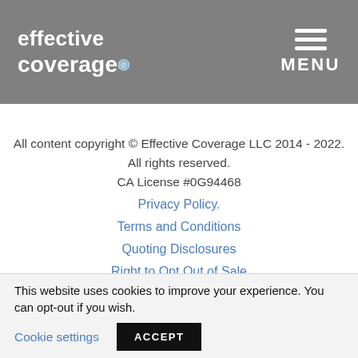effective coverage   MENU
All content copyright © Effective Coverage LLC 2014 - 2022. All rights reserved.
CA License #0G94468
Privacy Policy.
Terms and Conditions
Quoting Disclosures
Right to Opt Out of Sale
Accessibility Plan
This website uses cookies to improve your experience. You can opt-out if you wish.   Cookie settings   ACCEPT